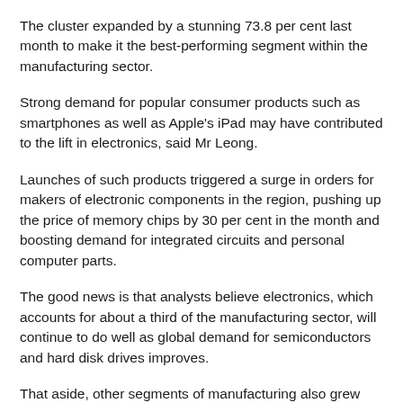The cluster expanded by a stunning 73.8 per cent last month to make it the best-performing segment within the manufacturing sector.
Strong demand for popular consumer products such as smartphones as well as Apple's iPad may have contributed to the lift in electronics, said Mr Leong.
Launches of such products triggered a surge in orders for makers of electronic components in the region, pushing up the price of memory chips by 30 per cent in the month and boosting demand for integrated circuits and personal computer parts.
The good news is that analysts believe electronics, which accounts for about a third of the manufacturing sector, will continue to do well as global demand for semiconductors and hard disk drives improves.
That aside, other segments of manufacturing also grew strongly last month.